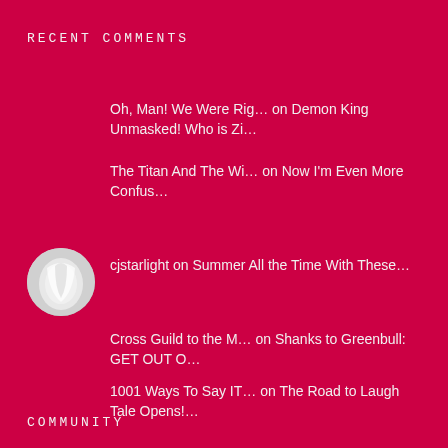RECENT COMMENTS
Oh, Man! We Were Rig… on Demon King Unmasked! Who is Zi…
[Figure (photo): Circular avatar image showing a book or white object]
cjstarlight on Summer All the Time With These…
Cross Guild to the M… on Shanks to Greenbull: GET OUT O…
1001 Ways To Say IT… on The Road to Laugh Tale Opens!…
The Titan And The Wi… on Now I'm Even More Confus…
COMMUNITY